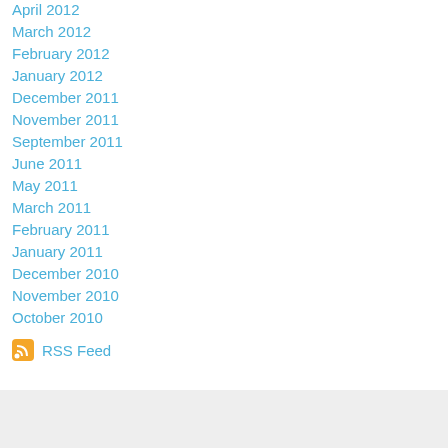April 2012
March 2012
February 2012
January 2012
December 2011
November 2011
September 2011
June 2011
May 2011
March 2011
February 2011
January 2011
December 2010
November 2010
October 2010
RSS Feed